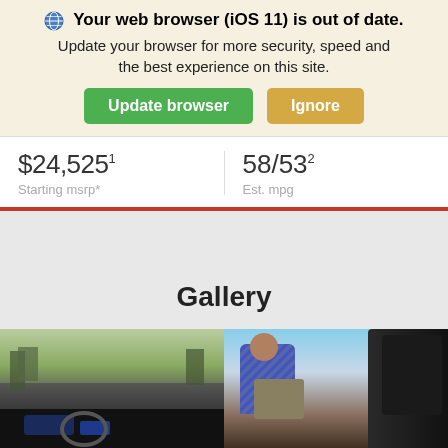🌐 Your web browser (iOS 11) is out of date. Update your browser for more security, speed and the best experience on this site. Update browser | Ignore
$24,525¹ Starting msrp* | 58/53² Est. mpg
Gallery
[Figure (photo): Two gallery photos side-by-side: left shows car interior dashboard view with road ahead, right shows a person loading luggage with car seat visible]
Search   Saved   Share   Contact